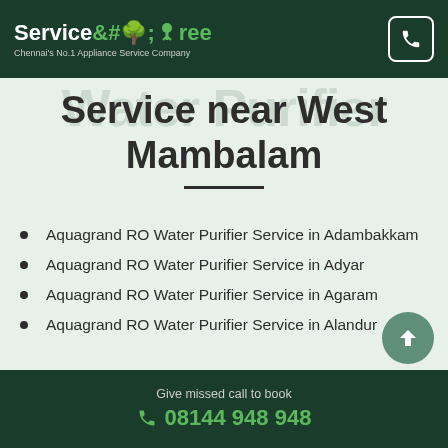ServiceTree – Chennai's No.1 Appliance Service Company
Aquagrand RO Water Purifier Service near West Mambalam
Aquagrand RO Water Purifier Service in Adambakkam
Aquagrand RO Water Purifier Service in Adyar
Aquagrand RO Water Purifier Service in Agaram
Aquagrand RO Water Purifier Service in Alandur
Give missed call to book 08144 948 948